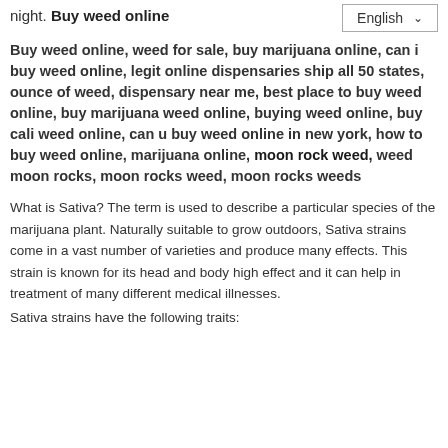night. Buy weed online
Buy weed online, weed for sale, buy marijuana online, can i buy weed online, legit online dispensaries ship all 50 states, ounce of weed, dispensary near me, best place to buy weed online, buy marijuana weed online, buying weed online, buy cali weed online, can u buy weed online in new york, how to buy weed online, marijuana online, moon rock weed, weed moon rocks, moon rocks weed, moon rocks weeds
What is Sativa? The term is used to describe a particular species of the marijuana plant. Naturally suitable to grow outdoors, Sativa strains come in a vast number of varieties and produce many effects. This strain is known for its head and body high effect and it can help in treatment of many different medical illnesses.
Sativa strains have the following traits: